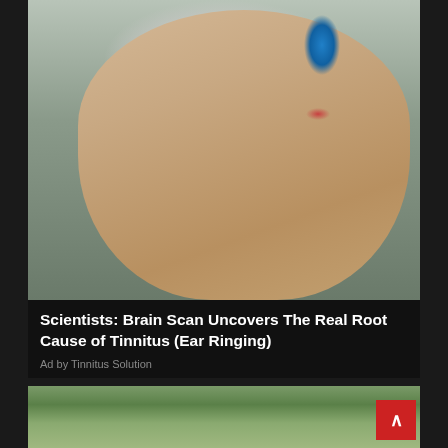[Figure (photo): A bald man smiling, holding a small vial or dropper up to his ear, wearing a khaki/beige t-shirt, in what appears to be a clinical or laboratory setting with white walls.]
Scientists: Brain Scan Uncovers The Real Root Cause of Tinnitus (Ear Ringing)
Ad by Tinnitus Solution
[Figure (photo): Partial view of an outdoor scene with scrubby vegetation, a person standing near what appears to be a large circular metallic or stone disc, in a dry/desert landscape setting.]